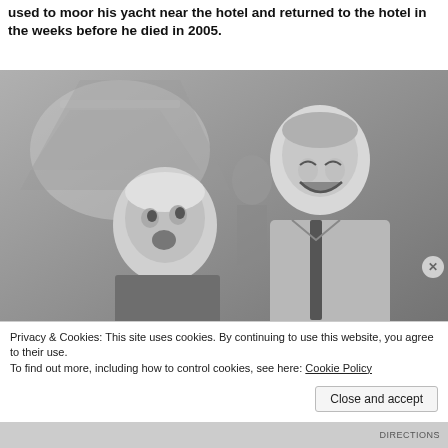used to moor his yacht near the hotel and returned to the hotel in the weeks before he died in 2005.
[Figure (photo): Black and white photograph of two men laughing together. One man on the left has light/white hair and is looking up at the other man. The man on the right is taller, has short grey hair and is laughing broadly, wearing a checked shirt and dark tie. A blurred background with geometric shapes is visible.]
Privacy & Cookies: This site uses cookies. By continuing to use this website, you agree to their use.
To find out more, including how to control cookies, see here: Cookie Policy
Close and accept
DIRECTIONS